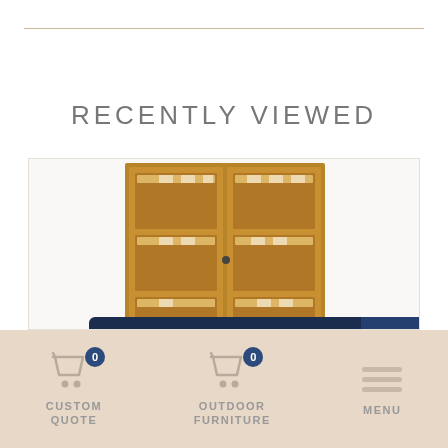RECENTLY VIEWED
[Figure (photo): A wooden display cabinet with glass doors showing shelves inside, on a light background. Overlay banner reads 'How to Shop Our Website' with a plus button.]
CUSTOM QUOTE | OUTDOOR FURNITURE | MENU with cart icons showing 0 items each